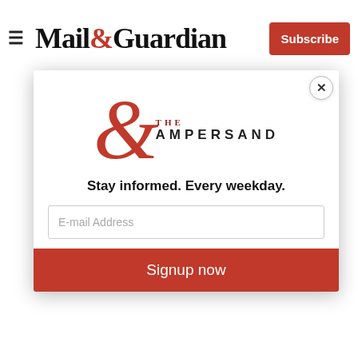Mail&Guardian — Subscribe
country office
Contract duration: Permanent
Entry Salary:
[Figure (logo): The Ampersand newsletter logo — large red ampersand with 'THE AMPERSAND' text]
Stay informed. Every weekday.
E-mail Address
Signup now